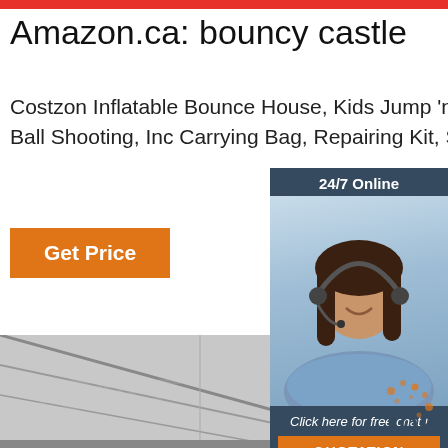Amazon.ca: bouncy castle
Costzon Inflatable Bounce House, Kids Jump 'n Slide Bouncer w/Basketball Rim, Ball Shooting, Inc Carrying Bag, Repairing Kit, Stakes (with Air
Get Price
[Figure (photo): Chat widget overlay with woman wearing headset, '24/7 Online' header, 'Click here for free chat!' text, and orange QUOTATION button]
[Figure (photo): Inflatable bouncy castle inside a large warehouse/hall, colorful bounce house with blue, red, yellow and green colors. Watermark text TONLE visible across the image.]
[Figure (other): TOP back-to-top button with orange dot decoration in bottom right corner]